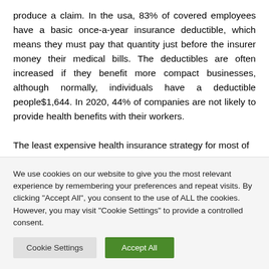produce a claim. In the usa, 83% of covered employees have a basic once-a-year insurance deductible, which means they must pay that quantity just before the insurer money their medical bills. The deductibles are often increased if they benefit more compact businesses, although normally, individuals have a deductible people$1,644. In 2020, 44% of companies are not likely to provide health benefits with their workers.
The least expensive health insurance strategy for most of
We use cookies on our website to give you the most relevant experience by remembering your preferences and repeat visits. By clicking "Accept All", you consent to the use of ALL the cookies. However, you may visit "Cookie Settings" to provide a controlled consent.